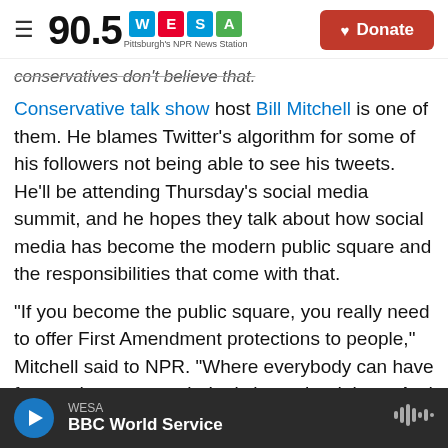90.5 WESA Pittsburgh's NPR News Station | Donate
conservatives don't believe that.
Conservative talk show host Bill Mitchell is one of them. He blames Twitter's algorithm for some of his followers not being able to see his tweets. He'll be attending Thursday's social media summit, and he hopes they talk about how social media has become the modern public square and the responsibilities that come with that.
"If you become the public square, you really need to offer First Amendment protections to people," Mitchell said to NPR. "Where everybody can have free and open speech. Let's have the debate. And
WESA | BBC World Service